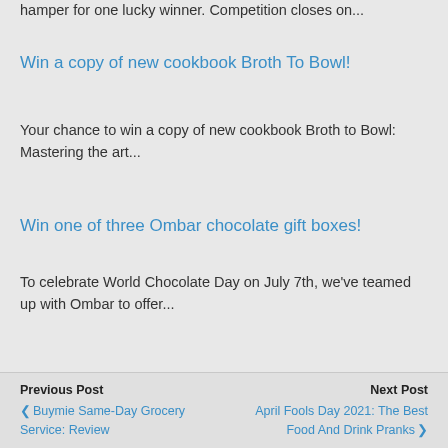hamper for one lucky winner. Competition closes on...
Win a copy of new cookbook Broth To Bowl!
Your chance to win a copy of new cookbook Broth to Bowl: Mastering the art...
Win one of three Ombar chocolate gift boxes!
To celebrate World Chocolate Day on July 7th, we've teamed up with Ombar to offer...
Previous Post  Buymie Same-Day Grocery Service: Review   Next Post  April Fools Day 2021: The Best Food And Drink Pranks